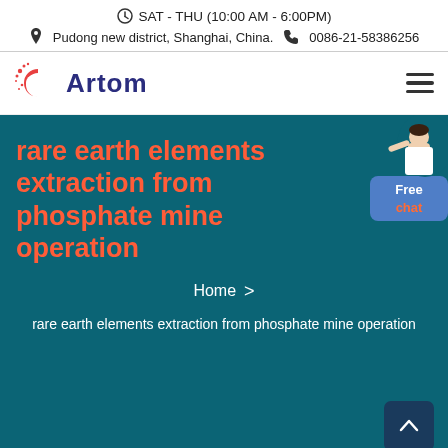SAT - THU (10:00 AM - 6:00PM)
Pudong new district, Shanghai, China.  0086-21-58386256
[Figure (logo): Artom company logo with red circular C icon and dark blue Artom text]
rare earth elements extraction from phosphate mine operation
Home > rare earth elements extraction from phosphate mine operation